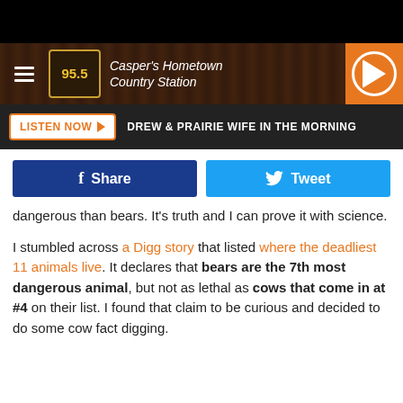[Figure (screenshot): Black top bar]
95.5 Casper's Hometown Country Station — navigation header with hamburger menu, logo, station name, and play button
[Figure (screenshot): Listen Now bar with DREW & PRAIRIE WIFE IN THE MORNING show title]
[Figure (screenshot): Social sharing buttons: Facebook Share and Tweet]
dangerous than bears. It's truth and I can prove it with science.
I stumbled across a Digg story that listed where the deadliest 11 animals live. It declares that bears are the 7th most dangerous animal, but not as lethal as cows that come in at #4 on their list. I found that claim to be curious and decided to do some cow fact digging.